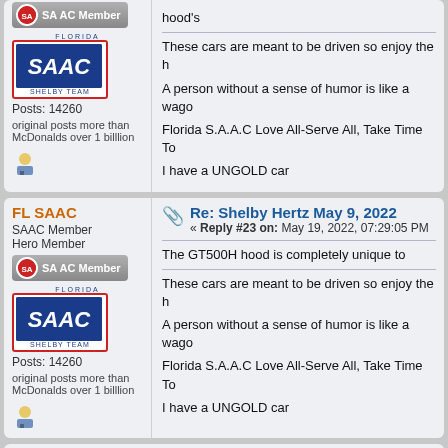hood's
These cars are meant to be driven so enjoy the h
A person without a sense of humor is like a wago
Florida S.A.A.C Love All-Serve All, Take Time To
I have a UNGOLD car
FL SAAC
SAAC Member
Hero Member
Posts: 14260
original posts more than McDonalds over 1 billlion
Re: Shelby Hertz May 9, 2022
« Reply #23 on: May 19, 2022, 07:29:05 PM
The GT500H hood is completely unique to
These cars are meant to be driven so enjoy the h
A person without a sense of humor is like a wago
Florida S.A.A.C Love All-Serve All, Take Time To
I have a UNGOLD car
Re: Shelby Hertz May 9, 2022